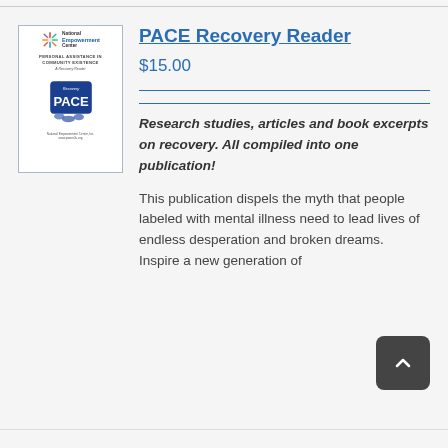[Figure (illustration): Book cover for PACE Recovery Reader — National Empowerment Center logo at top, subtitle 'Personal Assistance in Community Existence A Recovery Reader', blue PACE badge/logo in center, publisher footer at bottom]
PACE Recovery Reader
$15.00
Research studies, articles and book excerpts on recovery. All compiled into one publication!
This publication dispels the myth that people labeled with mental illness need to lead lives of endless desperation and broken dreams. Inspire a new generation of